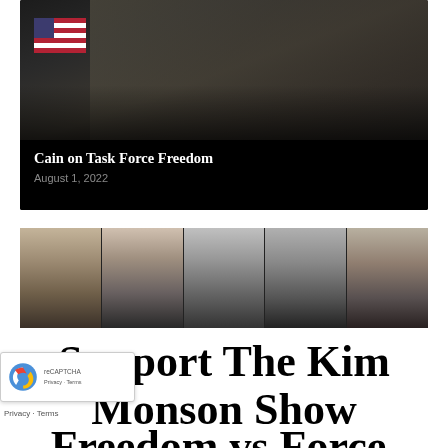[Figure (photo): Photo of a person in military camouflage uniform holding a baby, with an American flag visible on the left side. Black and white/dark toned image.]
Cain on Task Force Freedom
August 1, 2022
[Figure (photo): Black and white strip of five portrait photos side by side: James Madison, Ayn Rand, Ronald Reagan, Milton Friedman, and Herman Cain.]
Support The Kim Monson Show
Freedom vs Force.